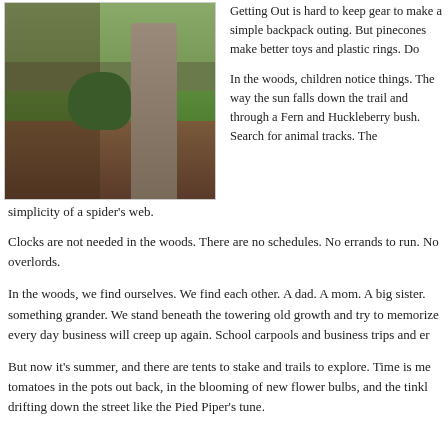[Figure (photo): Outdoor forest trail photo showing a dirt path winding through green grass and brush, with a large tree trunk on the right side and green hillside in the background.]
Getting Out is hard to keep gear to make a simple backpack outing. But pinecones make better toys and plastic rings. Do
In the woods, children notice things. The way the sun falls down the trail and through a Fern and Huckleberry bush. Search for animal tracks. The simplicity of a spider's web.
Clocks are not needed in the woods. There are no schedules. No errands to run. No overlords.
In the woods, we find ourselves. We find each other. A dad. A mom. A big sister. something grander. We stand beneath the towering old growth and try to memorize every day business will creep up again. School carpools and business trips and er
But now it's summer, and there are tents to stake and trails to explore. Time is measured in the ripening tomatoes in the pots out back, in the blooming of new flower bulbs, and the tinkling of the ice cream truck drifting down the street like the Pied Piper's tune.